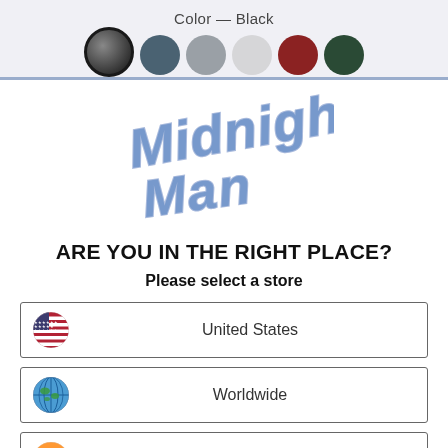Color — Black
[Figure (other): Row of colored circles: black, dark teal, gray, light gray, dark red, dark green — color selection swatches]
[Figure (logo): Midnight Man logo in stylized blue lettering]
ARE YOU IN THE RIGHT PLACE?
Please select a store
United States
Worldwide
India